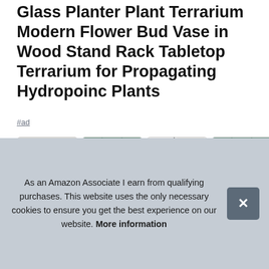Glass Planter Plant Terrarium Modern Flower Bud Vase in Wood Stand Rack Tabletop Terrarium for Propagating Hydropoinc Plants
#ad
[Figure (photo): Four product images side by side showing glass plant terrariums in wood stand racks in various room settings]
As an Amazon Associate I earn from qualifying purchases. This website uses the only necessary cookies to ensure you get the best experience on our website. More information
Mko plant test tube: diameter is 1", height is 6. /5". Perfect as a gift for